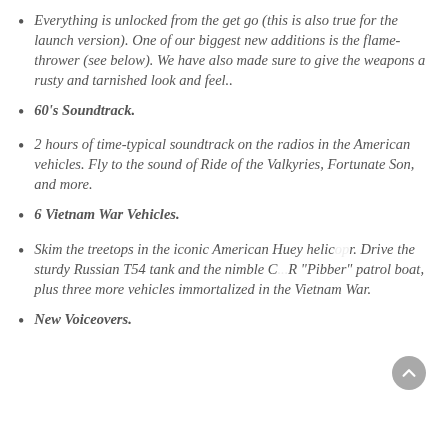Everything is unlocked from the get go (this is also true for the launch version). One of our biggest new additions is the flame-thrower (see below). We have also made sure to give the weapons a rusty and tarnished look and feel..
60's Soundtrack.
2 hours of time-typical soundtrack on the radios in the American vehicles. Fly to the sound of Ride of the Valkyries, Fortunate Son, and more.
6 Vietnam War Vehicles.
Skim the treetops in the iconic American Huey helicopter. Drive the sturdy Russian T54 tank and the nimble C... R "Pibber" patrol boat, plus three more vehicles immortalized in the Vietnam War.
New Voiceovers.